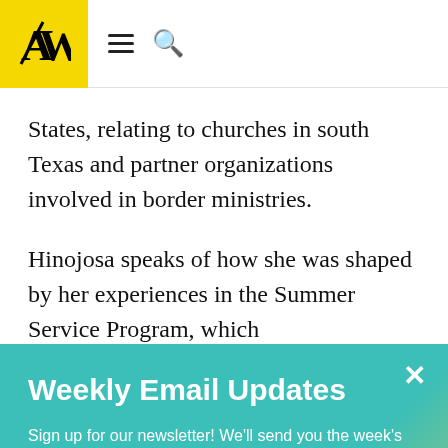AW [logo] — hamburger menu, search icon
States, relating to churches in south Texas and partner organizations involved in border ministries.
Hinojosa speaks of how she was shaped by her experiences in the Summer Service Program, which
Weekly Email Updates
Sign up for our newsletter! We'll send you the week's top news and commentary. Every Saturday.
Your best email address
SIGN UP